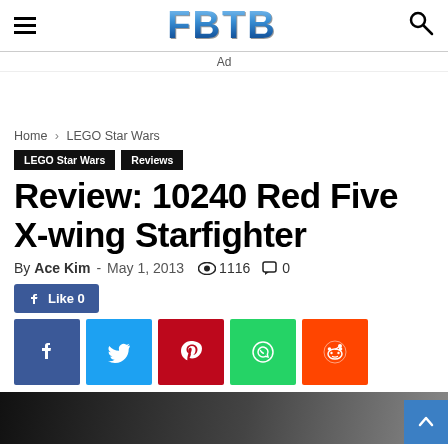FBTB
Ad
Home › LEGO Star Wars
LEGO Star Wars   Reviews
Review: 10240 Red Five X-wing Starfighter
By Ace Kim - May 1, 2013   1116   0
Like 0
[Figure (other): Social share buttons: Facebook, Twitter, Pinterest, WhatsApp, Reddit]
[Figure (photo): Partial preview image of the LEGO X-wing Starfighter set, dark background]